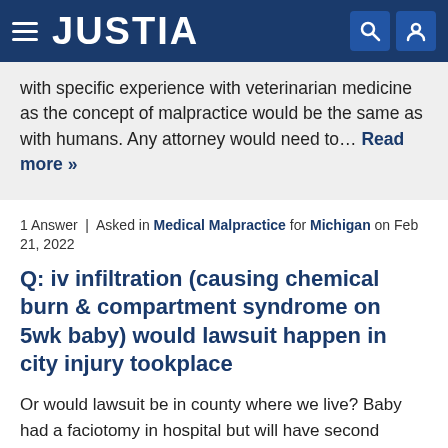JUSTIA
with specific experience with veterinarian medicine as the concept of malpractice would be the same as with humans. Any attorney would need to… Read more »
1 Answer | Asked in Medical Malpractice for Michigan on Feb 21, 2022
Q: iv infiltration (causing chemical burn & compartment syndrome on 5wk baby) would lawsuit happen in city injury tookplace
Or would lawsuit be in county where we live? Baby had a faciotomy in hospital but will have second surgery soon to see what injury looks like inside and than a skin graft is needed. Very little function in hand at this point. Looking for attorney to help with this matter